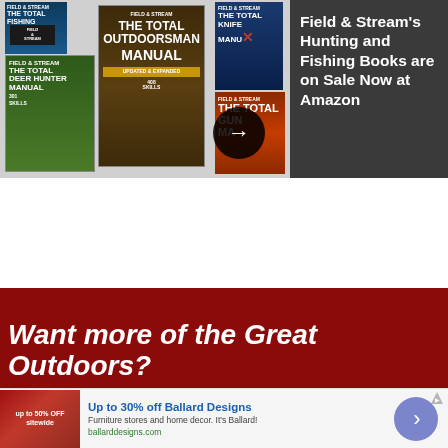[Figure (screenshot): Collection of Field & Stream hunting and fishing book covers including The Total Outdoorsman Manual, The Total Deer Hunter Manual, The Total Knife Manual, The Total Gun Manual, and others arranged in a promotional banner with a dark arrow button]
Field & Stream's Hunting and Fishing Books are on Sale Now at Amazon
Want more of the Great Outdoors?
[Figure (screenshot): Advertisement for Ballard Designs furniture store with thumbnail image, headline 'Up to 30% off Ballard Designs', subtext 'Furniture stores and home decor. It's Ballard!', URL ballarddesigns.com, and a purple arrow button on right]